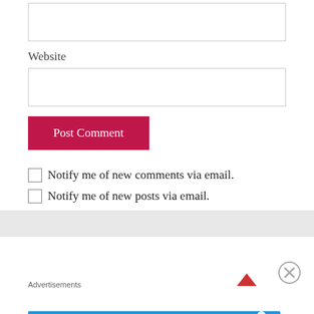[input box top]
Website
[website input box]
Post Comment
Notify me of new comments via email.
Notify me of new posts via email.
Advertisements
[Figure (illustration): Blue advertisement banner reading 'Need Speed? Get Pressable' with a running figure illustration]